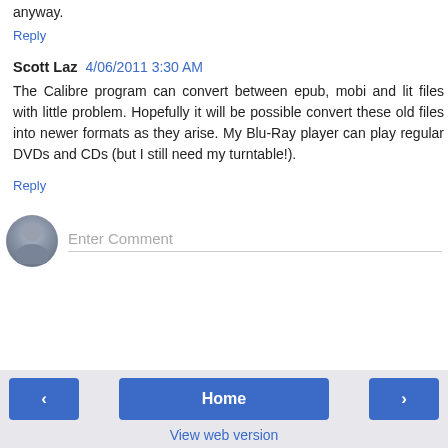anyway.
Reply
Scott Laz  4/06/2011 3:30 AM
The Calibre program can convert between epub, mobi and lit files with little problem. Hopefully it will be possible convert these old files into newer formats as they arise. My Blu-Ray player can play regular DVDs and CDs (but I still need my turntable!).
Reply
Enter Comment
Home  View web version